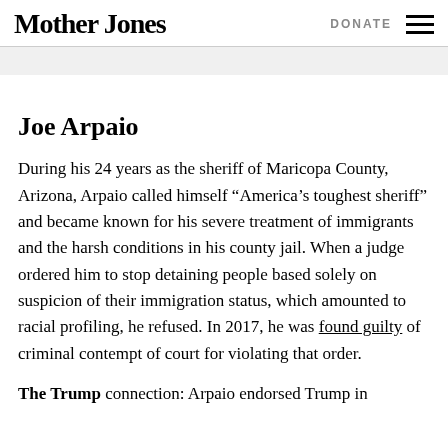Mother Jones  DONATE
Joe Arpaio
During his 24 years as the sheriff of Maricopa County, Arizona, Arpaio called himself “America’s toughest sheriff” and became known for his severe treatment of immigrants and the harsh conditions in his county jail. When a judge ordered him to stop detaining people based solely on suspicion of their immigration status, which amounted to racial profiling, he refused. In 2017, he was found guilty of criminal contempt of court for violating that order.
The Trump connection: Arpaio endorsed Trump in